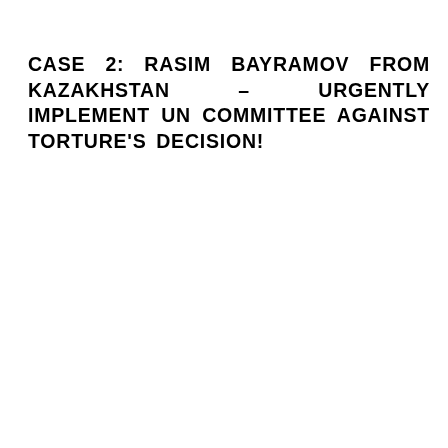CASE 2: RASIM BAYRAMOV FROM KAZAKHSTAN – URGENTLY IMPLEMENT UN COMMITTEE AGAINST TORTURE'S DECISION!